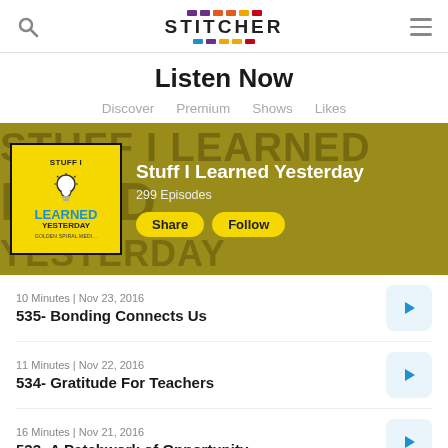Stitcher — Listen Now
Listen Now
Discover  Premium  Shows  Likes
[Figure (screenshot): Podcast banner for 'Stuff I Learned Yesterday' showing yellow podcast artwork on a dark gold background with large background text. Shows 299 Episodes with Share and Follow buttons.]
10 Minutes | Nov 23, 2016
535- Bonding Connects Us
11 Minutes | Nov 22, 2016
534- Gratitude For Teachers
16 Minutes | Nov 21, 2016
533- A Patchwork of Opportunity